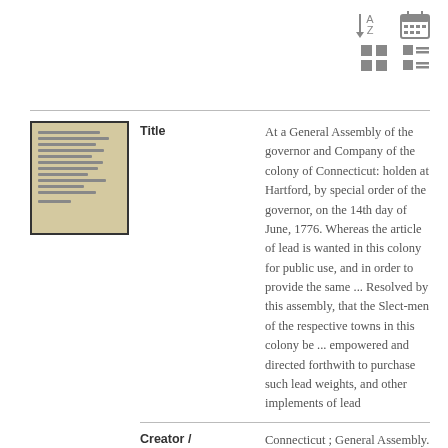[Figure (screenshot): Toolbar with sort A-Z, calendar, grid view, and list view icons]
[Figure (photo): Thumbnail of handwritten historical document]
Title
At a General Assembly of the governor and Company of the colony of Connecticut: holden at Hartford, by special order of the governor, on the 14th day of June, 1776. Whereas the article of lead is wanted in this colony for public use, and in order to provide the same ... Resolved by this assembly, that the Slect-men of the respective towns in this colony be ... empowered and directed forthwith to purchase such lead weights, and other implements of lead
Creator / Contributor
Connecticut ; General Assembly.
[Figure (photo): Thumbnail of second handwritten historical document]
Title
At a General Assembly of the governor and Company of the state of Connecticut,